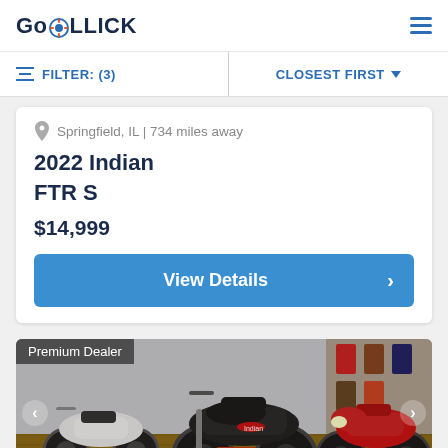GoROLLICK
FILTER: (3)
CLOSEST FIRST
Springfield, IL | 734 miles away
2022 Indian FTR S
$14,999
View Details
[Figure (photo): Motorcycle dealership showroom with multiple Indian motorcycles including a black FTR and a red touring bike. Premium Dealer badge visible.]